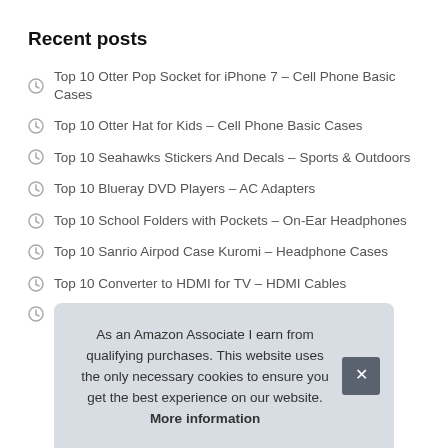Recent posts
Top 10 Otter Pop Socket for iPhone 7 – Cell Phone Basic Cases
Top 10 Otter Hat for Kids – Cell Phone Basic Cases
Top 10 Seahawks Stickers And Decals – Sports & Outdoors
Top 10 Blueray DVD Players – AC Adapters
Top 10 School Folders with Pockets – On-Ear Headphones
Top 10 Sanrio Airpod Case Kuromi – Headphone Cases
Top 10 Converter to HDMI for TV – HDMI Cables
T…
As an Amazon Associate I earn from qualifying purchases. This website uses the only necessary cookies to ensure you get the best experience on our website. More information